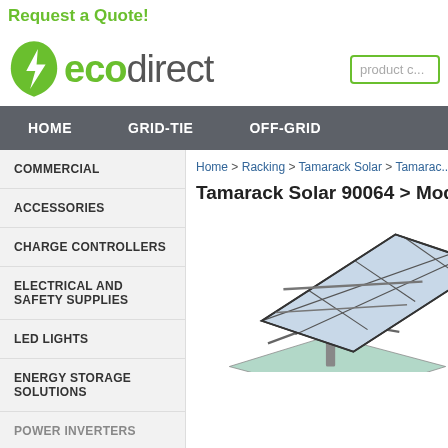Request a Quote!
[Figure (logo): EcoDirect logo with green lightning bolt icon and 'ecodirect' text]
product c... (search box)
HOME | GRID-TIE | OFF-GRID navigation bar
COMMERCIAL
ACCESSORIES
CHARGE CONTROLLERS
ELECTRICAL AND SAFETY SUPPLIES
LED LIGHTS
ENERGY STORAGE SOLUTIONS
POWER INVERTERS
Home > Racking > Tamarack Solar > Tamarac...
Tamarack Solar 90064 > Modular G...
[Figure (photo): 3D rendering of a ground-mounted solar panel array with grid structure on a pole mount]